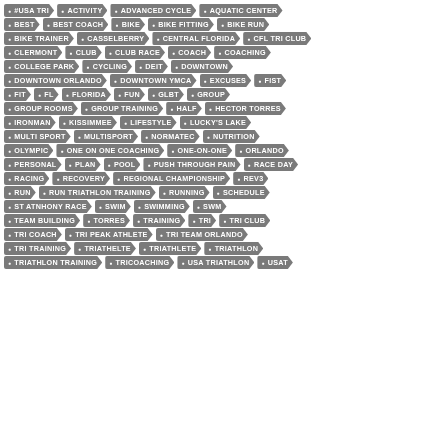[Figure (infographic): Tag cloud of triathlon and fitness related keywords displayed as grey arrow/tag shapes arranged in rows. Tags include: #USA TRI, ACTIVITY, ADVANCED CYCLE, AQUATIC CENTER, BEST, BEST COACH, BIKE, BIKE FITTING, BIKE RUN, BIKE TRAINER, CASSELBERRY, CENTRAL FLORIDA, CFL TRI CLUB, CLERMONT, CLUB, CLUB RACE, COACH, COACHING, COLLEGE PARK, CYCLING, DEIT, DOWNTOWN, DOWNTOWN ORLANDO, DOWNTOWN YMCA, EXCUSES, FIST, FIT, FL, FLORIDA, FUN, GLBT, GROUP, GROUP ROOMS, GROUP TRAINING, HALF, HECTOR TORRES, IRONMAN, KISSIMMEE, LIFESTYLE, LUCKY'S LAKE, MULTI SPORT, MULTISPORT, NORMATEC, NUTRITION, OLYMPIC, ONE ON ONE COACHING, ONE-ON-ONE, ORLANDO, PERSONAL, PLAN, POOL, PUSH THROUGH PAIN, RACE DAY, RACING, RECOVERY, REGIONAL CHAMPIONSHIP, REV3, RUN, RUN TRIATHLON TRAINING, RUNNING, SCHEDULE, ST ATNHONY RACE, SWIM, SWIMMING, SWM, TEAM BUILDING, TORRES, TRAINING, TRI, TRI CLUB, TRI COACH, TRI PEAK ATHLETE, TRI TEAM ORLANDO, TRI TRAINING, TRIATHELTE, TRIATHLETE, TRIATHLON, TRIATHLON TRAINING, TRICOACHING, USA TRIATHLON, USAT]